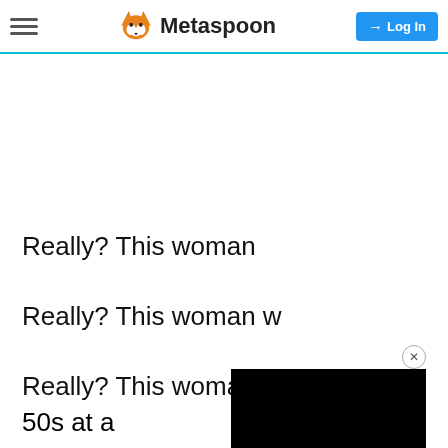Metaspoon  Log In
Really? This woman was in her 50s at a guess and just petting the assistance dog in the
Lady: 'There's no need to be a jerk about it'